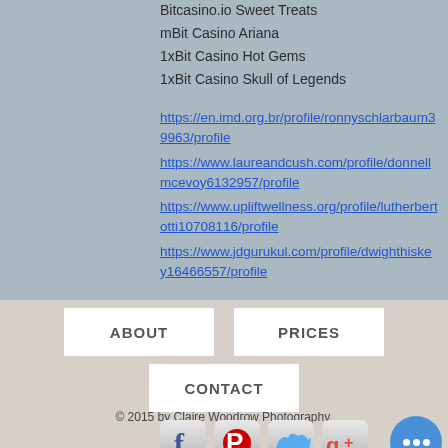Bitcasino.io Sweet Treats
mBit Casino Ariana
1xBit Casino Hot Gems
1xBit Casino Skull of Legends
https://en.imd.org.br/profile/ronnyschlarbaum39963/profile
https://www.laureandcush.com/profile/donnellmcevoy6132957/profile
https://www.upliftwellness.org/profile/lutherbertotti10708116/profile
https://www.jdgurukul.com/profile/dwighthiskey16466557/profile
ABOUT
PRICES
CONTACT
© 2015 by Claire Woodrow Photography.